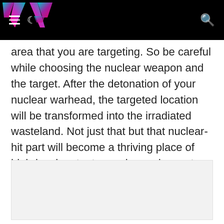Website header with logo and navigation icons
area that you are targeting. So be careful while choosing the nuclear weapon and the target. After the detonation of your nuclear warhead, the targeted location will be transformed into the irradiated wasteland. Not just that but that nuclear-hit part will become a thriving place of high-level mutant enemies and monsters.
[Figure (other): Light gray image placeholder box]